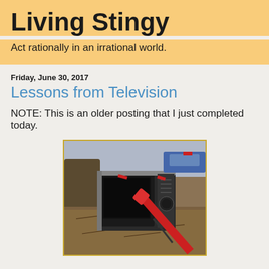Living Stingy
Act rationally in an irrational world.
Friday, June 30, 2017
Lessons from Television
NOTE: This is an older posting that I just completed today.
[Figure (photo): A broken old CRT television set lying on its side on the ground near a tree, with a red and black bat or stick leaning against it, debris on the ground around it.]